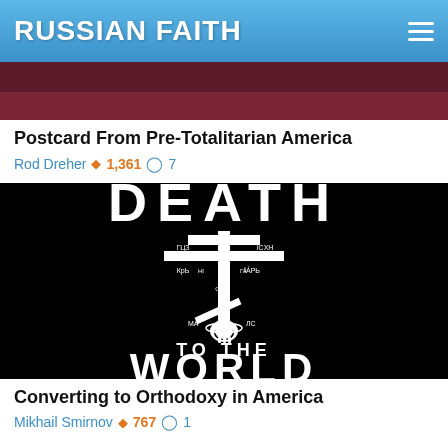RUSSIAN FAITH
[Figure (photo): Top portion of a decorative image, partially visible, dark red/maroon background]
Postcard From Pre-Totalitarian America
Rod Dreher 🔥 1,361 💬 7
[Figure (photo): Black background image showing an Orthodox cross with Cyrillic text, with the words DEATH (partially visible at top), TO THE WORLD at the bottom]
Converting to Orthodoxy in America
Mikhail Smirnov 🔥 767 💬 1